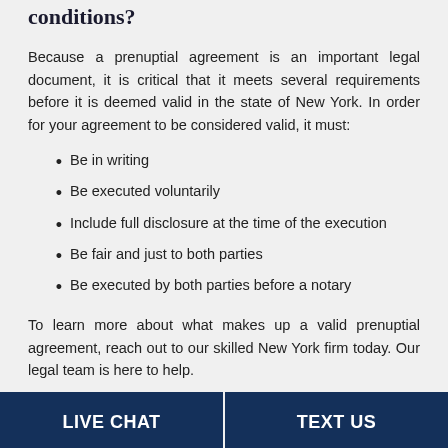conditions?
Because a prenuptial agreement is an important legal document, it is critical that it meets several requirements before it is deemed valid in the state of New York. In order for your agreement to be considered valid, it must:
Be in writing
Be executed voluntarily
Include full disclosure at the time of the execution
Be fair and just to both parties
Be executed by both parties before a notary
To learn more about what makes up a valid prenuptial agreement, reach out to our skilled New York firm today. Our legal team is here to help.
LIVE CHAT | TEXT US